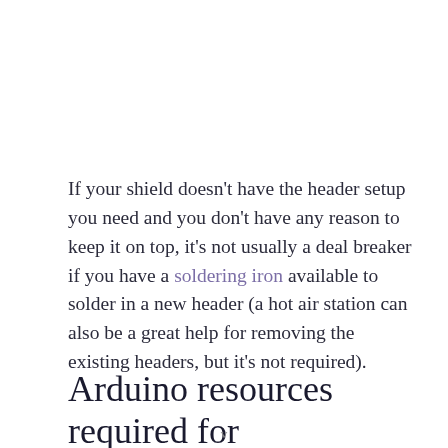If your shield doesn't have the header setup you need and you don't have any reason to keep it on top, it's not usually a deal breaker if you have a soldering iron available to solder in a new header (a hot air station can also be a great help for removing the existing headers, but it's not required).
Arduino resources required for your project
v